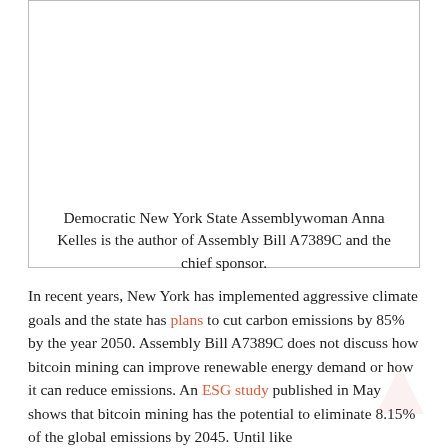[Figure (photo): Photo of Democratic New York State Assemblywoman Anna Kelles]
Democratic New York State Assemblywoman Anna Kelles is the author of Assembly Bill A7389C and the chief sponsor.
In recent years, New York has implemented aggressive climate goals and the state has plans to cut carbon emissions by 85% by the year 2050. Assembly Bill A7389C does not discuss how bitcoin mining can improve renewable energy demand or how it can reduce emissions. An ESG study published in May shows that bitcoin mining has the potential to eliminate 8.15% of the global emissions by 2045. Until like